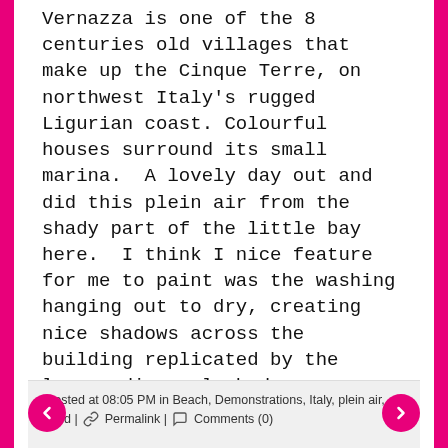Vernazza is one of the 8 centuries old villages that make up the Cinque Terre, on northwest Italy's rugged Ligurian coast. Colourful houses surround its small marina.  A lovely day out and did this plein air from the shady part of the little bay here.  I think I nice feature for me to paint was the washing hanging out to dry, creating nice shadows across the building replicated by the larger diagonal shadows.
Painted of Saunders Waterford Paper, 300 gms, NOT surface.
Posted at 08:05 PM in Beach, Demonstrations, Italy, plein air, Sold | Permalink | Comments (0)